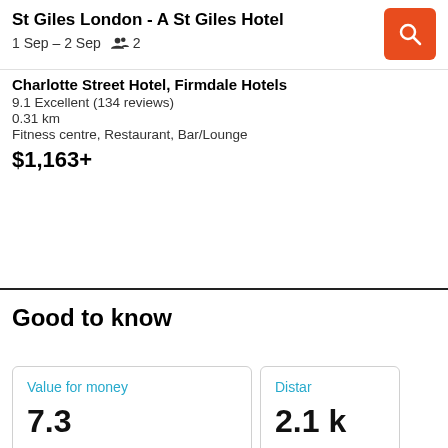St Giles London - A St Giles Hotel | 1 Sep – 2 Sep | 2
Charlotte Street Hotel, Firmdale Hotels
9.1 Excellent (134 reviews)
0.31 km
Fitness centre, Restaurant, Bar/Lounge
$1,163+
Good to know
Value for money
7.3
Distan
2.1 k